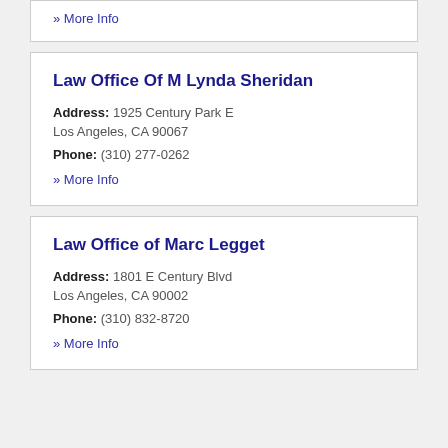» More Info
Law Office Of M Lynda Sheridan
Address: 1925 Century Park E
Los Angeles, CA 90067
Phone: (310) 277-0262
» More Info
Law Office of Marc Legget
Address: 1801 E Century Blvd
Los Angeles, CA 90002
Phone: (310) 832-8720
» More Info